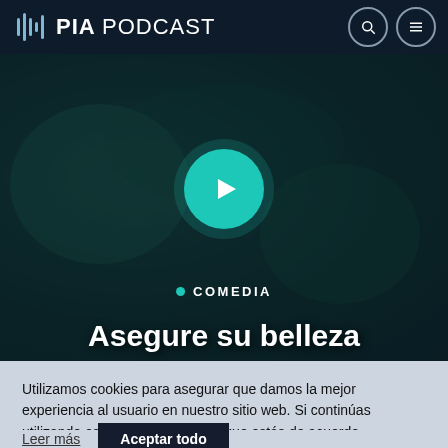PIA PODCAST
[Figure (screenshot): Dark teal hero section with a teal play button in the center. Below the play button is a teal dot followed by the label COMEDIA in white bold uppercase letters. At the bottom of the hero is the title text 'Asegure su belleza' in large white bold text.]
• COMEDIA
Asegure su belleza
Utilizamos cookies para asegurar que damos la mejor experiencia al usuario en nuestro sitio web. Si continúas utilizando este sitio asumiremos que estás de acuerdo.
Leer más  Aceptar todo